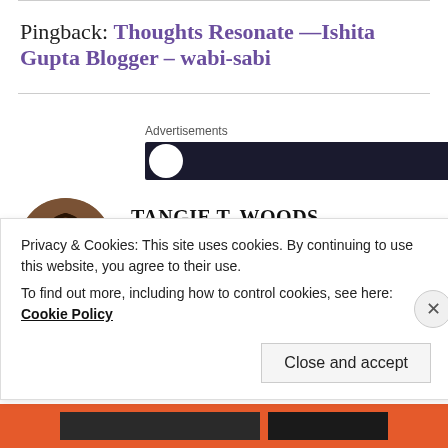Pingback: Thoughts Resonate —Ishita Gupta Blogger – wabi-sabi
Advertisements
TANGIE T. WOODS
Jul 8, 2020 at 6:18 am
Privacy & Cookies: This site uses cookies. By continuing to use this website, you agree to their use.
To find out more, including how to control cookies, see here: Cookie Policy
Close and accept